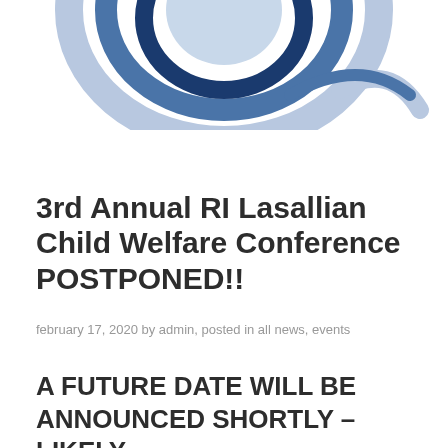[Figure (logo): Partial circular logo with dark blue and light blue swoosh/concentric arc design, cropped at top of page]
3rd Annual RI Lasallian Child Welfare Conference POSTPONED!!
february 17, 2020 by admin, posted in all news, events
A FUTURE DATE WILL BE ANNOUNCED SHORTLY – LIKELY